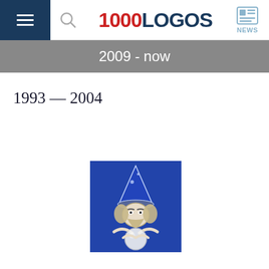1000LOGOS NEWS
2009 - now
1993 — 2004
[Figure (logo): Wizard mascot logo on blue background — a wizard wearing a pointed hat with stars, holding a crystal ball, with flowing hair and beard]